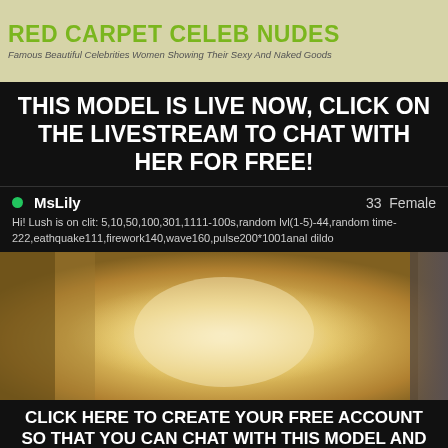[Figure (logo): Red Carpet Celeb Nudes website logo with site title in green and subtitle in gray italic]
THIS MODEL IS LIVE NOW, CLICK ON THE LIVESTREAM TO CHAT WITH HER FOR FREE!
MsLily  33  Female
Hi! Lush is on clit: 5,10,50,100,301,1111-100s,random lvl(1-5)-44,random time-222,eathquake111,firework140,wave160,pulse200*1001anal dildo
[Figure (screenshot): Blurry live stream video thumbnail with warm golden/yellow tones]
CLICK HERE TO CREATE YOUR FREE ACCOUNT SO THAT YOU CAN CHAT WITH THIS MODEL AND THOUSANDS MORE!